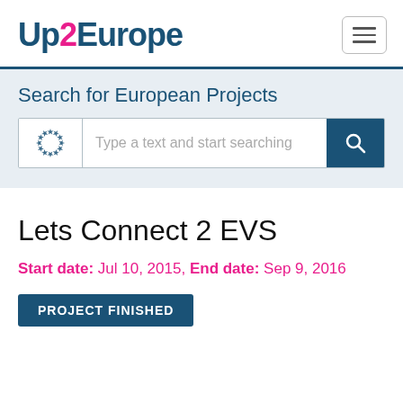Up2Europe
Search for European Projects
[Figure (screenshot): Search bar with EU flag stars icon on left, placeholder text 'Type a text and start searching', and teal search button on right]
Lets Connect 2 EVS
Start date: Jul 10, 2015, End date: Sep 9, 2016
PROJECT FINISHED